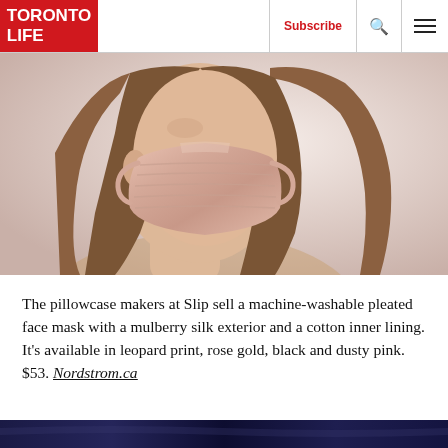TORONTO LIFE | Subscribe
[Figure (photo): Woman wearing a rose gold/dusty pink pleated silk face mask, long brown hair, photographed from the side/front against a light background.]
The pillowcase makers at Slip sell a machine-washable pleated face mask with a mulberry silk exterior and a cotton inner lining. It's available in leopard print, rose gold, black and dusty pink. $53. Nordstrom.ca
[Figure (photo): Bottom strip showing a dark blue/navy image, partially visible.]